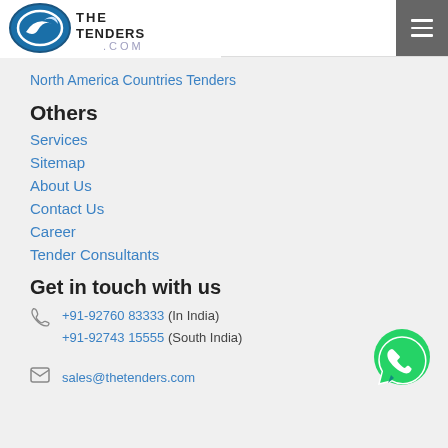[Figure (logo): TheTenders.com logo with blue oval and arrow icon and hamburger menu icon on dark background]
North America Countries Tenders
Others
Services
Sitemap
About Us
Contact Us
Career
Tender Consultants
Get in touch with us
+91-92760 83333 (In India)
+91-92743 15555 (South India)
sales@thetenders.com
[Figure (logo): WhatsApp green bubble icon]